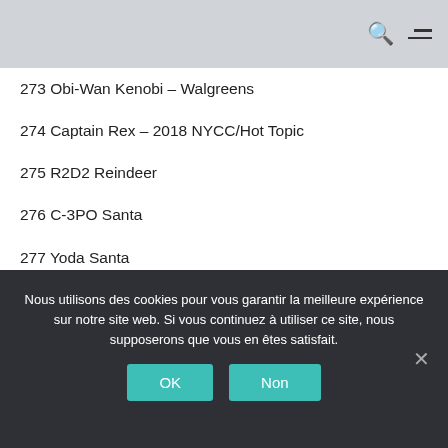273 Obi-Wan Kenobi – Walgreens
274 Captain Rex – 2018 NYCC/Hot Topic
275 R2D2 Reindeer
276 C-3PO Santa
277 Yoda Santa
278 Chewbacca Christmas Lights
279 Darth Vader with Candy Cane
279 Darth Vader with GITD Cane Chase
280 Boba Gets His Bounty (Movie Moments) – Smuggler's Bounty
Nous utilisons des cookies pour vous garantir la meilleure expérience sur notre site web. Si vous continuez à utiliser ce site, nous supposerons que vous en êtes satisfait.